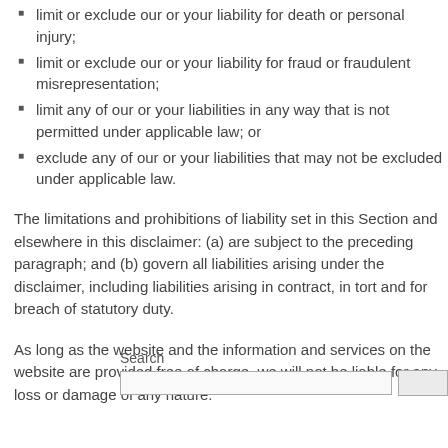limit or exclude our or your liability for death or personal injury;
limit or exclude our or your liability for fraud or fraudulent misrepresentation;
limit any of our or your liabilities in any way that is not permitted under applicable law; or
exclude any of our or your liabilities that may not be excluded under applicable law.
The limitations and prohibitions of liability set in this Section and elsewhere in this disclaimer: (a) are subject to the preceding paragraph; and (b) govern all liabilities arising under the disclaimer, including liabilities arising in contract, in tort and for breach of statutory duty.
As long as the website and the information and services on the website are provided free of charge, we will not be liable for any loss or damage of any nature.
Search